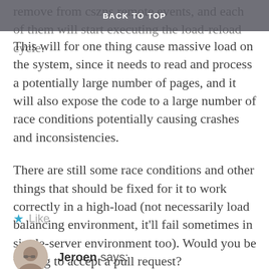BACK TO TOP
remove from cszns remote events, and each of them will start executing the load-reload cycle. This will for one thing cause massive load on the system, since it needs to read and process a potentially large number of pages, and it will also expose the code to a large number of race conditions potentially causing crashes and inconsistencies.
There are still some race conditions and other things that should be fixed for it to work correctly in a high-load (not necessarily load balancing environment, it'll fail sometimes in single-server environment too). Would you be willing to accept a pull request?
★ Like
Jeroen says: